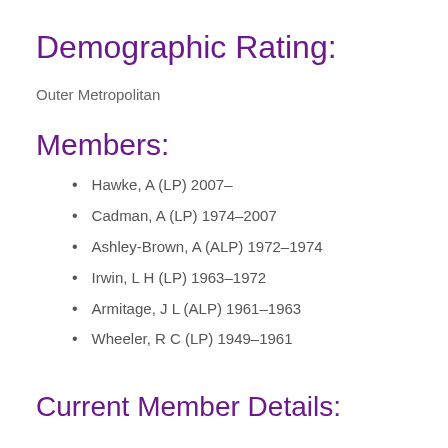Demographic Rating:
Outer Metropolitan
Members:
Hawke, A (LP) 2007–
Cadman, A (LP) 1974–2007
Ashley-Brown, A (ALP) 1972–1974
Irwin, L H (LP) 1963–1972
Armitage, J L (ALP) 1961–1963
Wheeler, R C (LP) 1949–1961
Current Member Details: